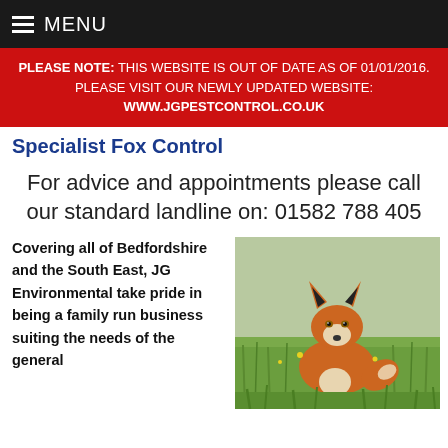MENU
PLEASE NOTE: THIS WEBSITE IS OUT OF DATE AS OF 01/01/2016. PLEASE VISIT OUR NEWLY UPDATED WEBSITE: WWW.JGPESTCONTROL.CO.UK
Specialist Fox Control
For advice and appointments please call our standard landline on: 01582 788 405
Covering all of Bedfordshire and the South East, JG Environmental take pride in being a family run business suiting the needs of the general
[Figure (photo): A red fox sitting in grass, facing the camera]